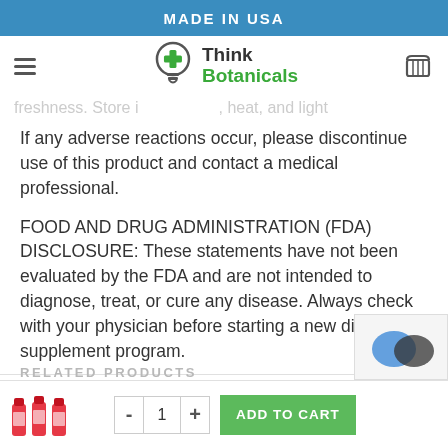MADE IN USA
[Figure (logo): Think Botanicals logo with lightbulb icon containing a cross, hamburger menu icon on left, shopping cart icon on right]
nausea, drowsine symptoms. Keep the product at ro reserve its freshness. Store i , heat, and light
If any adverse reactions occur, please discontinue use of this product and contact a medical professional.
FOOD AND DRUG ADMINISTRATION (FDA) DISCLOSURE: These statements have not been evaluated by the FDA and are not intended to diagnose, treat, or cure any disease. Always check with your physician before starting a new dietary supplement program.
RELATED PRODUCTS
[Figure (photo): Product image showing bottles]
- 1 + ADD TO CART